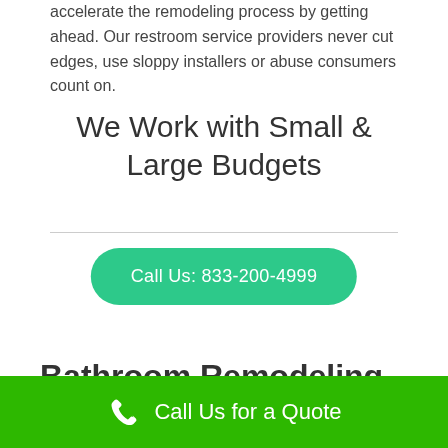accelerate the remodeling process by getting ahead. Our restroom service providers never cut edges, use sloppy installers or abuse consumers count on.
We Work with Small & Large Budgets
[Figure (other): Green rounded button with white text: Call Us: 833-200-4999]
Bathroom Remodeling
Call Us for a Quote